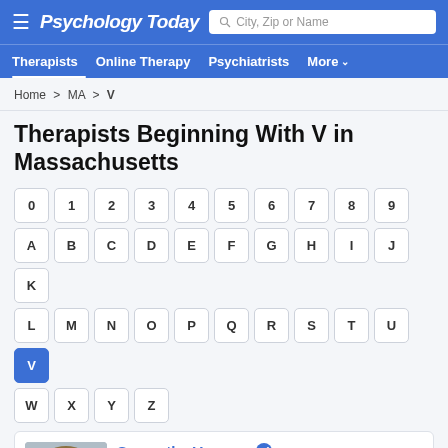Psychology Today — City, Zip or Name search
Therapists | Online Therapy | Psychiatrists | More
Home > MA > V
Therapists Beginning With V in Massachusetts
0 1 2 3 4 5 6 7 8 9
A B C D E F G H I J K L M N O P Q R S T U V W X Y Z
Samantha Vaccaro — Clinical Social Work/Therapist, LCSW — Pittsfield, MA 01201